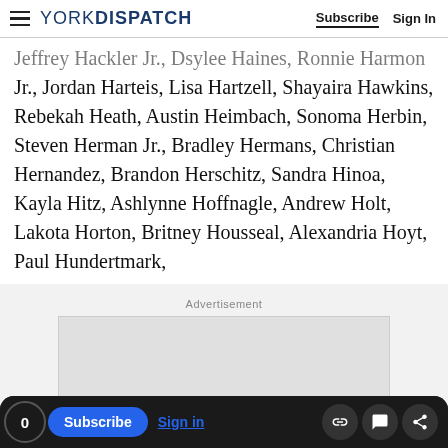YORK DISPATCH — Subscribe | Sign In
Jeffrey Hackler Jr., Dsylee Haines, Ronnie Harmon Jr., Jordan Harteis, Lisa Hartzell, Shayaira Hawkins, Rebekah Heath, Austin Heimbach, Sonoma Herbin, Steven Herman Jr., Bradley Hermans, Christian Hernandez, Brandon Herschitz, Sandra Hinoa, Kayla Hitz, Ashlynne Hoffnagle, Andrew Holt, Lakota Horton, Britney Housseal, Alexandria Hoyt, Paul Hundertmark,
Advertisement
[Figure (other): Empty advertisement placeholder box]